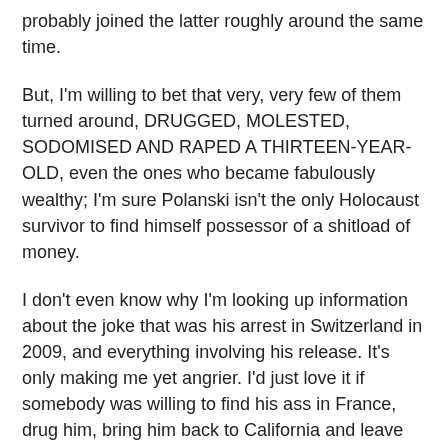probably joined the latter roughly around the same time.
But, I'm willing to bet that very, very few of them turned around, DRUGGED, MOLESTED, SODOMISED AND RAPED A THIRTEEN-YEAR-OLD, even the ones who became fabulously wealthy; I'm sure Polanski isn't the only Holocaust survivor to find himself possessor of a shitload of money.
I don't even know why I'm looking up information about the joke that was his arrest in Switzerland in 2009, and everything involving his release. It's only making me yet angrier. I'd just love it if somebody was willing to find his ass in France, drug him, bring him back to California and leave